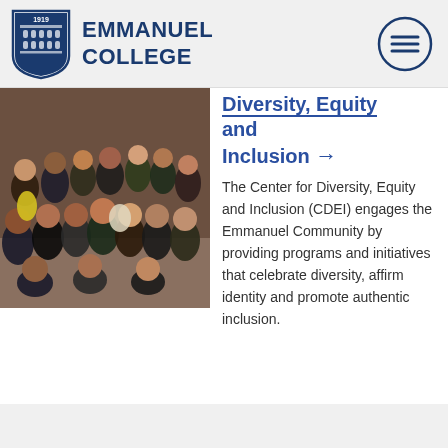EMMANUEL COLLEGE
[Figure (photo): Group photo of students indoors, diverse group of young people posing together]
Diversity, Equity and Inclusion →
The Center for Diversity, Equity and Inclusion (CDEI) engages the Emmanuel Community by providing programs and initiatives that celebrate diversity, affirm identity and promote authentic inclusion.